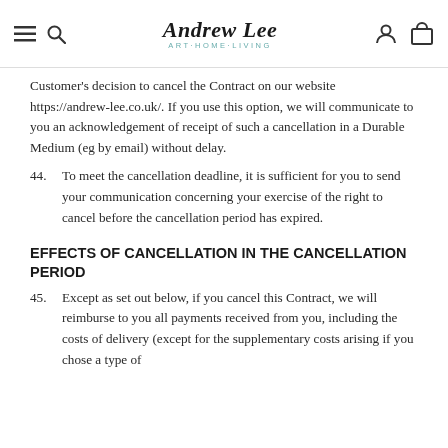Andrew Lee ART·HOME·LIVING
Customer's decision to cancel the Contract on our website https://andrew-lee.co.uk/. If you use this option, we will communicate to you an acknowledgement of receipt of such a cancellation in a Durable Medium (eg by email) without delay.
44. To meet the cancellation deadline, it is sufficient for you to send your communication concerning your exercise of the right to cancel before the cancellation period has expired.
EFFECTS OF CANCELLATION IN THE CANCELLATION PERIOD
45. Except as set out below, if you cancel this Contract, we will reimburse to you all payments received from you, including the costs of delivery (except for the supplementary costs arising if you chose a type of